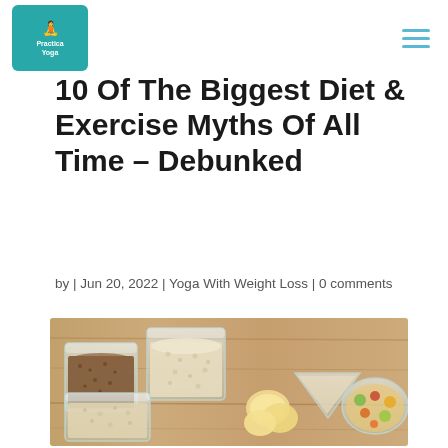Practica Yoga | hamburger menu
10 Of The Biggest Diet & Exercise Myths Of All Time – Debunked
by | Jun 20, 2022 | Yoga With Weight Loss | 0 comments
[Figure (photo): Various grains, seeds, and foods in glass bowls on a wooden surface]